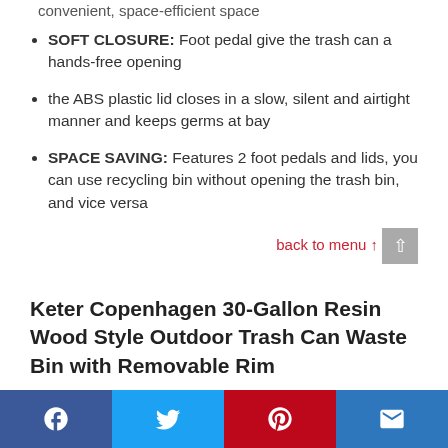convenient, space-efficient space
SOFT CLOSURE: Foot pedal give the trash can a hands-free opening
the ABS plastic lid closes in a slow, silent and airtight manner and keeps germs at bay
SPACE SAVING: Features 2 foot pedals and lids, you can use recycling bin without opening the trash bin, and vice versa
back to menu ↑
Keter Copenhagen 30-Gallon Resin Wood Style Outdoor Trash Can Waste Bin with Removable Rim